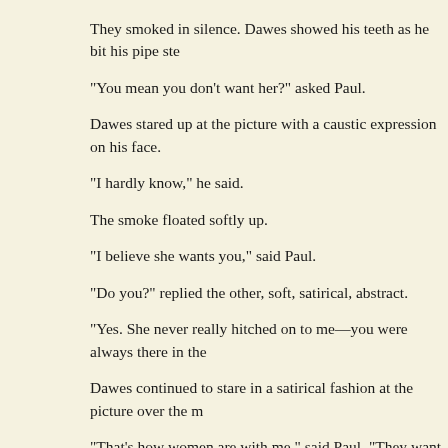They smoked in silence. Dawes showed his teeth as he bit his pipe ste
"You mean you don't want her?" asked Paul.
Dawes stared up at the picture with a caustic expression on his face.
"I hardly know," he said.
The smoke floated softly up.
"I believe she wants you," said Paul.
"Do you?" replied the other, soft, satirical, abstract.
"Yes. She never really hitched on to me—you were always there in the
Dawes continued to stare in a satirical fashion at the picture over the m
"That's how women are with me," said Paul. "They want me like mad, knew."
The triumphant male came up in Dawes. He showed his teeth more di
"Perhaps I was a fool," he said.
"You were a big fool," said Morel.
"But perhaps even THEN you were a bigger fool," said Dawes.